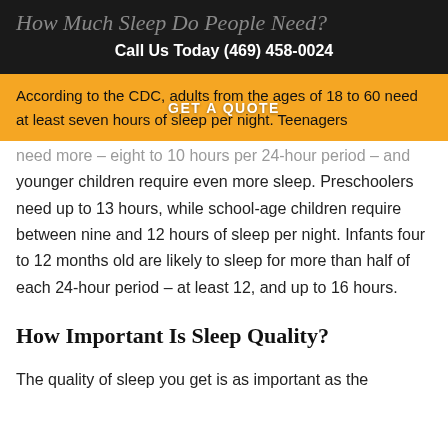How Much Sleep Do People Need?
Call Us Today (469) 458-0024
According to the CDC, adults from the ages of 18 to 60 need at least seven hours of sleep per night. Teenagers need more – eight to 10 hours per 24-hour period – and younger children require even more sleep. Preschoolers need up to 13 hours, while school-age children require between nine and 12 hours of sleep per night. Infants four to 12 months old are likely to sleep for more than half of each 24-hour period – at least 12, and up to 16 hours.
How Important Is Sleep Quality?
The quality of sleep you get is as important as the